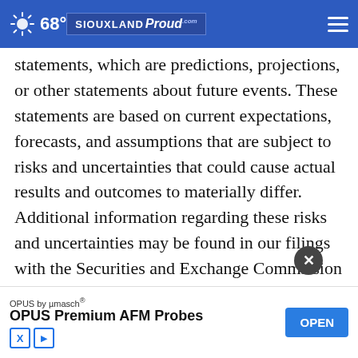68° SIOUXLAND Proud
statements, which are predictions, projections, or other statements about future events. These statements are based on current expectations, forecasts, and assumptions that are subject to risks and uncertainties that could cause actual results and outcomes to materially differ. Additional information regarding these risks and uncertainties may be found in our filings with the Securities and Exchange Commission including but not limited to the risk factors section m